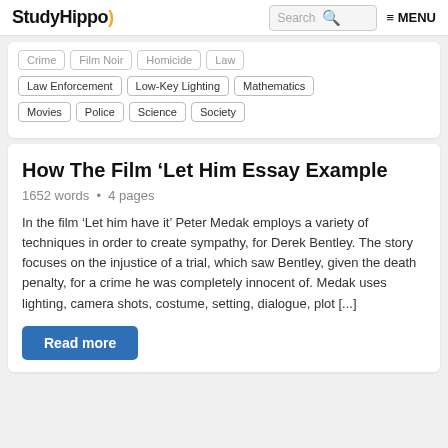StudyHippo | Search | MENU
Crime | Film Noir | Homicide | Law
Law Enforcement | Low-Key Lighting | Mathematics
Movies | Police | Science | Society
How The Film ‘Let Him Essay Example
1652 words • 4 pages
In the film ‘Let him have it’ Peter Medak employs a variety of techniques in order to create sympathy, for Derek Bentley. The story focuses on the injustice of a trial, which saw Bentley, given the death penalty, for a crime he was completely innocent of. Medak uses lighting, camera shots, costume, setting, dialogue, plot [...]
Read more